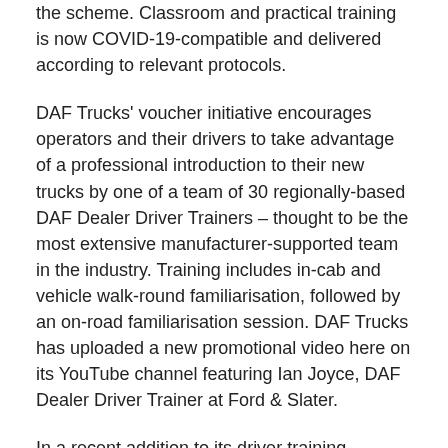the scheme. Classroom and practical training is now COVID-19-compatible and delivered according to relevant protocols.
DAF Trucks' voucher initiative encourages operators and their drivers to take advantage of a professional introduction to their new trucks by one of a team of 30 regionally-based DAF Dealer Driver Trainers – thought to be the most extensive manufacturer-supported team in the industry. Training includes in-cab and vehicle walk-round familiarisation, followed by an on-road familiarisation session. DAF Trucks has uploaded a new promotional video here on its YouTube channel featuring Ian Joyce, DAF Dealer Driver Trainer at Ford & Slater.
In a recent addition to its driver training programme, DAF Trucks offers 'train-the-trainer' support for fleet customers. The DAF Driver Training Voucher scheme